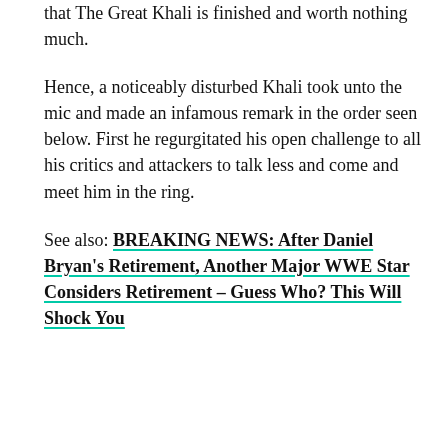that The Great Khali is finished and worth nothing much.
Hence, a noticeably disturbed Khali took unto the mic and made an infamous remark in the order seen below. First he regurgitated his open challenge to all his critics and attackers to talk less and come and meet him in the ring.
See also: BREAKING NEWS: After Daniel Bryan's Retirement, Another Major WWE Star Considers Retirement – Guess Who? This Will Shock You